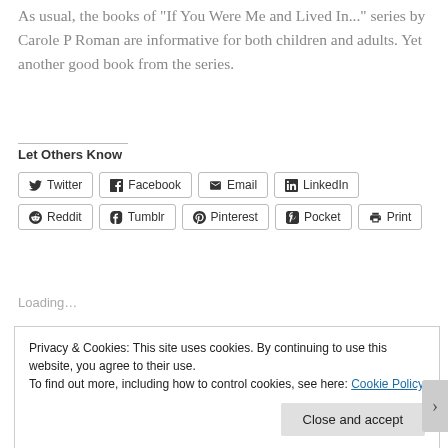As usual, the books of "If You Were Me and Lived In..." series by Carole P Roman are informative for both children and adults. Yet another good book from the series.
Let Others Know
Twitter | Facebook | Email | LinkedIn | Reddit | Tumblr | Pinterest | Pocket | Print
Loading...
Privacy & Cookies: This site uses cookies. By continuing to use this website, you agree to their use.
To find out more, including how to control cookies, see here: Cookie Policy
Close and accept